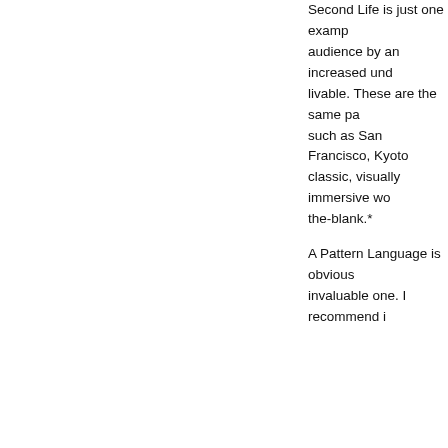Second Life is just one example of how audience by an increased understanding of what makes a place livable. These are the same patterns that make cities such as San Francisco, Kyoto classic, visually immersive wo the-blank.*
A Pattern Language is obviously invaluable one. I recommend it
Reader comment: gfburke says
Pattern language is essentially object-oriented programming. Are you familiar with Christopher Alexander's Timeless Way Of Building four volume masterw